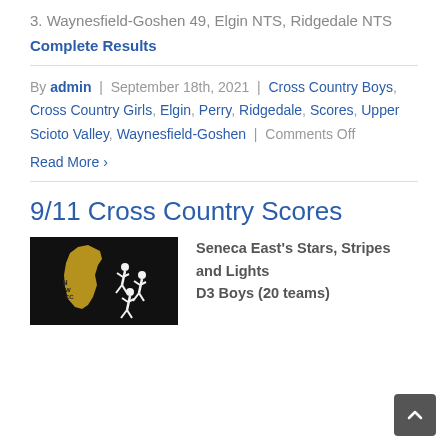3. Waynesfield-Goshen 49, Elgin NTS, Ridgedale NTS
Complete Results
By admin | September 18th, 2021 | Cross Country Boys, Cross Country Girls, Elgin, Perry, Ridgedale, Scores, Upper Scioto Valley, Waynesfield-Goshen | Comments Off
Read More ›
9/11 Cross Country Scores
[Figure (logo): NWCC logo: black background with Ohio state outline in gold and white silhouette runners]
Seneca East's Stars, Stripes and Lights
D3 Boys (20 teams)